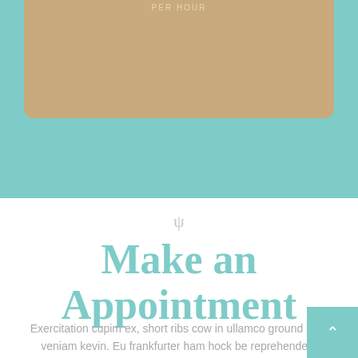[Figure (illustration): Teal/mint background section at top of page with a tan/beige rounded-bottom rectangular box overlay containing 'PER HOUR' text at top]
PER HOUR
ψ
Make an Appointment
Exercitation cupim ex, short ribs cow in ullamco ground beef veniam kevin. Eu frankfurter ham hock be reprehenderit adipisicing ipsum